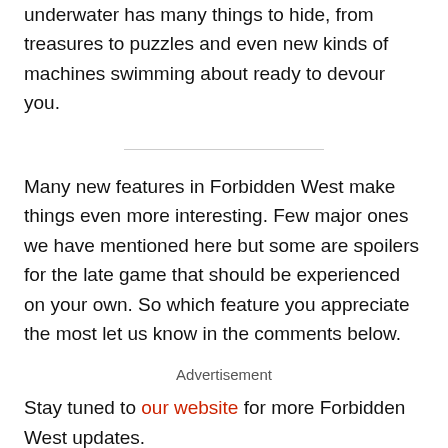underwater has many things to hide, from treasures to puzzles and even new kinds of machines swimming about ready to devour you.
Many new features in Forbidden West make things even more interesting. Few major ones we have mentioned here but some are spoilers for the late game that should be experienced on your own. So which feature you appreciate the most let us know in the comments below.
Advertisement
Stay tuned to our website for more Forbidden West updates.